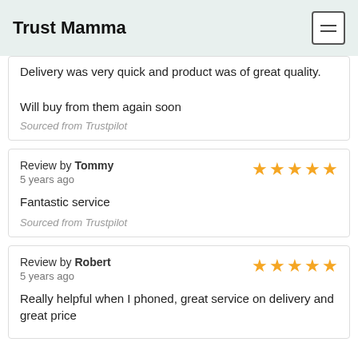Trust Mamma
Delivery was very quick and product was of great quality.

Will buy from them again soon
Sourced from Trustpilot
Review by Tommy
5 years ago
Fantastic service
Sourced from Trustpilot
Review by Robert
5 years ago
Really helpful when I phoned, great service on delivery and great price